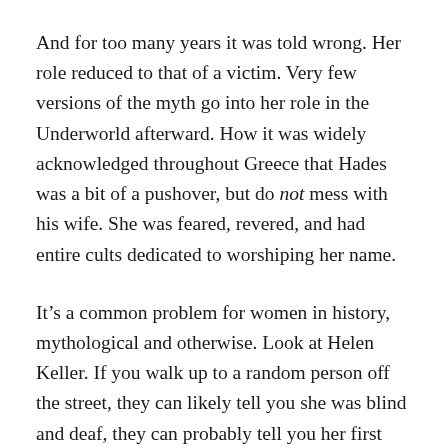And for too many years it was told wrong. Her role reduced to that of a victim. Very few versions of the myth go into her role in the Underworld afterward. How it was widely acknowledged throughout Greece that Hades was a bit of a pushover, but do not mess with his wife. She was feared, revered, and had entire cults dedicated to worshiping her name.
It’s a common problem for women in history, mythological and otherwise. Look at Helen Keller. If you walk up to a random person off the street, they can likely tell you she was blind and deaf, they can probably tell you her first sign, and the name of her teacher, but what they aren’t likely to know are the legion of accomplishments to her name. Like Persephone’s story ends when she emerges from hell